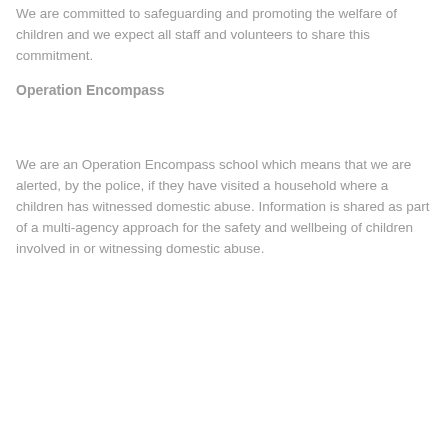We are committed to safeguarding and promoting the welfare of children and we expect all staff and volunteers to share this commitment.
Operation Encompass
We are an Operation Encompass school which means that we are alerted, by the police, if they have visited a household where a children has witnessed domestic abuse. Information is shared as part of a multi-agency approach for the safety and wellbeing of children involved in or witnessing domestic abuse.